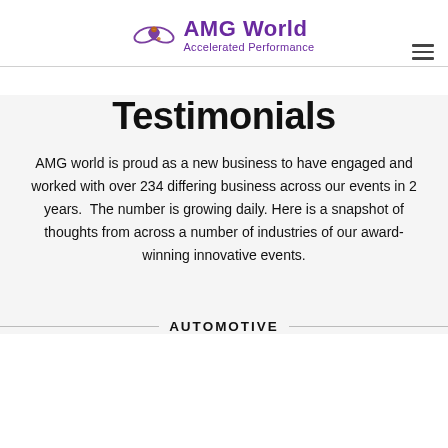AMG World Accelerated Performance
Testimonials
AMG world is proud as a new business to have engaged and worked with over 234 differing business across our events in 2 years.  The number is growing daily. Here is a snapshot of thoughts from across a number of industries of our award-winning innovative events.
AUTOMOTIVE